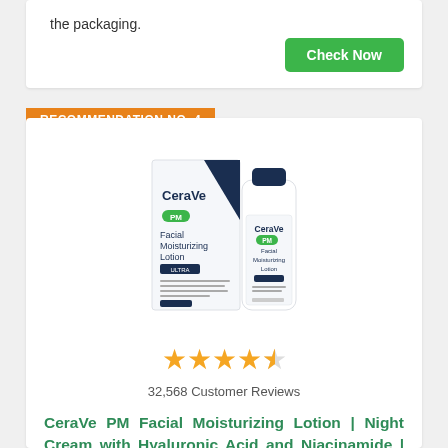the packaging.
Check Now
RECOMMENDATION NO. 4
[Figure (photo): CeraVe PM Facial Moisturizing Lotion product box and bottle]
32,568 Customer Reviews
CeraVe PM Facial Moisturizing Lotion | Night Cream with Hyaluronic Acid and Niacinamide | Ultra Lightweight, Oil-Free, Moisturizer, for